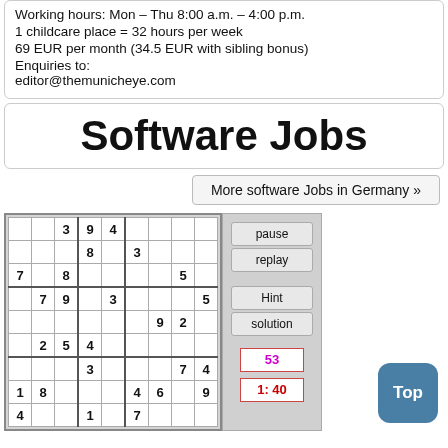Working hours: Mon – Thu 8:00 a.m. – 4:00 p.m.
1 childcare place = 32 hours per week
69 EUR per month (34.5 EUR with sibling bonus)
Enquiries to:
editor@themunicheye.com
Software Jobs
More software Jobs in Germany »
[Figure (other): Sudoku puzzle grid 9x9 with numbers pre-filled, alongside control buttons (pause, replay, Hint, solution), score display showing 53, and timer showing 1:40]